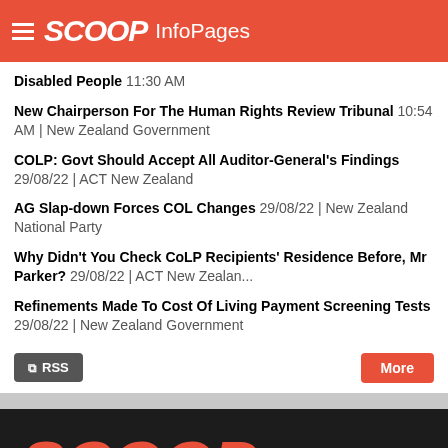SCOOP InfoPages
Disabled People 11:30 AM
New Chairperson For The Human Rights Review Tribunal 10:54 AM | New Zealand Government
COLP: Govt Should Accept All Auditor-General's Findings 29/08/22 | ACT New Zealand
AG Slap-down Forces COL Changes 29/08/22 | New Zealand National Party
Why Didn't You Check CoLP Recipients' Residence Before, Mr Parker? 29/08/22 | ACT New Zealan...
Refinements Made To Cost Of Living Payment Screening Tests 29/08/22 | New Zealand Government
[Figure (logo): Scoop logo in orange on dark background footer]